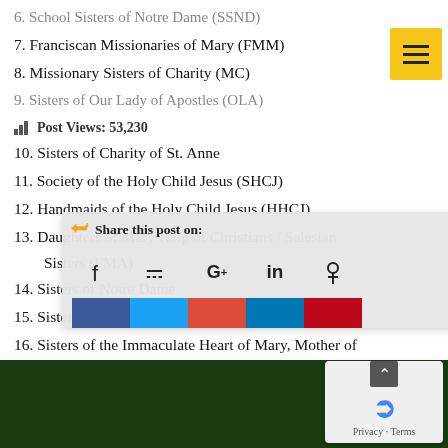6. School Sisters of Notre Dame (SSND)
7. Franciscan Missionaries of Mary (FMM)
8. Missionary Sisters of Charity (MC)
9. Sisters of Our Lady of Apostles (OLA)
Post Views: 53,230
10. Sisters of Charity of St. Anne
11. Society of the Holy Child Jesus (SHCJ)
12. Handmaids of the Holy Child Jesus (HHCJ)
13. Daughters of Mary Help of Christians / Salesian Sisters (FMA)
14. Sisters of Notre Dame de Namur (SND)
15. Sisters of Mary Immaculate (SMI)
16. Sisters of the Immaculate Heart of Mary, Mother of Christ (IHM)
[Figure (infographic): Share this post overlay with social media icons (Facebook, Twitter, Google+, LinkedIn, Pinterest) and colored bars below them]
[Figure (screenshot): reCAPTCHA privacy box with up arrow and Privacy - Terms text]